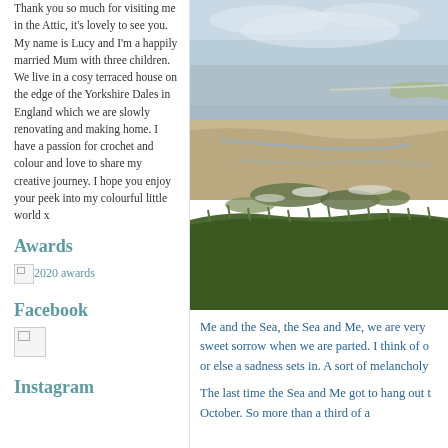Thank you so much for visiting me in the Attic, it's lovely to see you. My name is Lucy and I'm a happily married Mum with three children. We live in a cosy terraced house on the edge of the Yorkshire Dales in England which we are slowly renovating and making home. I have a passion for crochet and colour and love to share my creative journey. I hope you enjoy your peek into my colourful little world x
Awards
[Figure (other): Broken image placeholder with text link '2020 awards']
Facebook
[Figure (other): Broken Facebook image placeholder]
Instagram
Recent Posts
[Figure (photo): Coastal beach scene with sandy tidal flats, green algae patches, grassy cliff in foreground, cloudy sky above]
Me and the Sea, the Sea and Me, we are very sweet sorrow when we are parted. I think of or else a sadness sets in. A sort of melancholy
The last time the Sea and Me got to hang out October. So more than a third of a